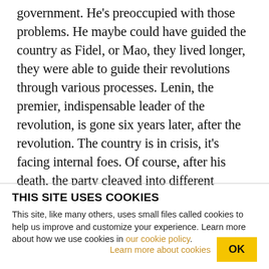government. He's preoccupied with those problems. He maybe could have guided the country as Fidel, or Mao, they lived longer, they were able to guide their revolutions through various processes. Lenin, the premier, indispensable leader of the revolution, is gone six years later, after the revolution. The country is in crisis, it's facing internal foes. Of course, after his death, the party cleaved into different factions, those following Stalin, those following Trotsky, those following Bukharin, three big, broad factions. Lenin was able to manage a party where there was
THIS SITE USES COOKIES
This site, like many others, uses small files called cookies to help us improve and customize your experience. Learn more about how we use cookies in our cookie policy.
Learn more about cookies
OK